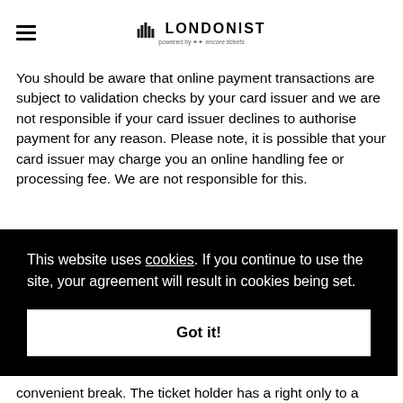LONDONIST powered by encore tickets
You should be aware that online payment transactions are subject to validation checks by your card issuer and we are not responsible if your card issuer declines to authorise payment for any reason. Please note, it is possible that your card issuer may charge you an online handling fee or processing fee. We are not responsible for this.
This website uses cookies. If you continue to use the site, your agreement will result in cookies being set.
Got it!
convenient break. The ticket holder has a right only to a